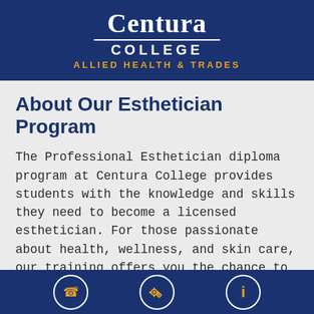[Figure (logo): Centura College logo with text 'Centura COLLEGE ALLIED HEALTH & TRADES' on dark navy blue background]
About Our Esthetician Program
The Professional Esthetician diploma program at Centura College provides students with the knowledge and skills they need to become a licensed esthetician. For those passionate about health, wellness, and skin care, our training offers you the chance to learn beauty techniques and health and
[Figure (infographic): Footer bar with three circular icon buttons: phone/call icon, settings/gears icon, and info icon, all in orange on dark navy blue background]